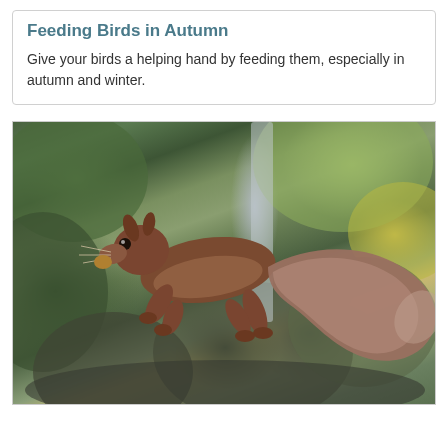Feeding Birds in Autumn
Give your birds a helping hand by feeding them, especially in autumn and winter.
[Figure (photo): A red squirrel leaping through the air mid-jump, carrying a small nut in its mouth, with a large bushy tail extended behind it. The background is a blurred outdoor scene with green and yellow-brown foliage and a pale vertical pole or tree trunk.]